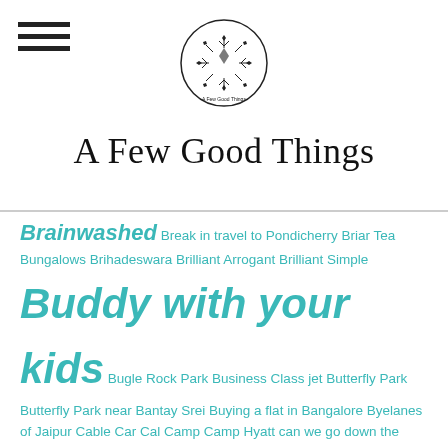A Few Good Things
Brainwashed Break in travel to Pondicherry Briar Tea Bungalows Brihadeswara Brilliant Arrogant Brilliant Simple Buddy with your kids Bugle Rock Park Business Class jet Butterfly Park Butterfly Park near Bantay Srei Buying a flat in Bangalore Byelanes of Jaipur Cable Car Cal Camp Camp Hyatt can we go down the Gaganachukki waterfall Captain Spock Carrot Trivia Cashews in Britannia causation when buying large complexes Cauvery Celestine Prophecy and Hinduism central Challenges in India Challenges of making money in todays environment Challenges of moving to India Chalukya Capital Chandamama Chandra Choodeshwara Temple Chandra Namaskar Chapter 5 Gita Chemical free vegetables from Mapletree Chennai Chickamagalur Hotel Chickamagalur Hotels Chickamangalore exotic resorts Chickamangalore Hotels Chidambaram best place to stay Chidambaram in 2 days Chidambaram Travel Tips Cholestrol Chopta Chota Bheem Christmas cakes from all over the world Chutki Cicada CISC Cities CK Prahlad Class 9 French Revolution CBSE Cleats Climbing Tirupathi Clutter Axis Bank Clutter